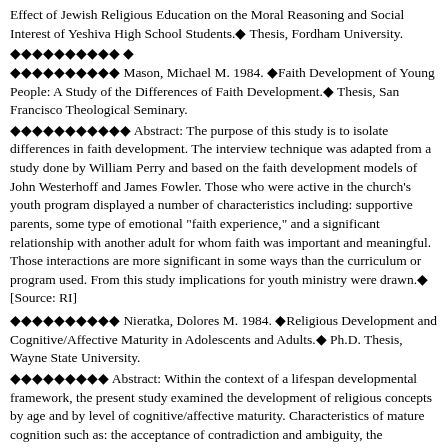Effect of Jewish Religious Education on the Moral Reasoning and Social Interest of Yeshiva High School Students.◆ Thesis, Fordham University.
◆◆◆◆◆◆◆◆◆◆ ◆ ◆◆◆◆◆◆◆◆◆◆ Mason, Michael M. 1984. ◆Faith Development of Young People: A Study of the Differences of Faith Development.◆ Thesis, San Francisco Theological Seminary.
◆◆◆◆◆◆◆◆◆◆◆ Abstract: The purpose of this study is to isolate differences in faith development. The interview technique was adapted from a study done by William Perry and based on the faith development models of John Westerhoff and James Fowler. Those who were active in the church's youth program displayed a number of characteristics including: supportive parents, some type of emotional "faith experience," and a significant relationship with another adult for whom faith was important and meaningful. Those interactions are more significant in some ways than the curriculum or program used. From this study implications for youth ministry were drawn.◆ [Source: RI]
◆◆◆◆◆◆◆◆◆◆ Nieratka, Dolores M. 1984. ◆Religious Development and Cognitive/Affective Maturity in Adolescents and Adults.◆ Ph.D. Thesis, Wayne State University.
◆◆◆◆◆◆◆◆◆ Abstract: Within the context of a lifespan developmental framework, the present study examined the development of religious concepts by age and by level of cognitive/affective maturity. Characteristics of mature cognition such as: the acceptance of contradiction and ambiguity, the development of the self as referent, and the integration of real world knowledge with logic were used in assessing the type of religious